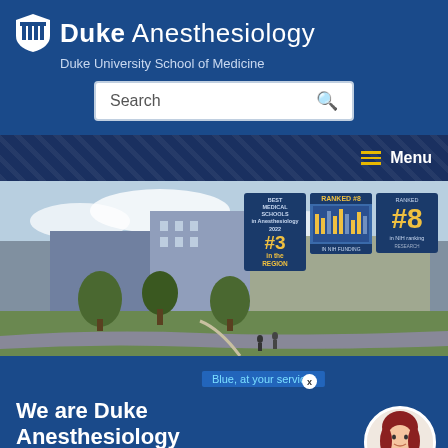Duke Anesthesiology — Duke University School of Medicine
Search
[Figure (screenshot): Navigation bar with hamburger menu icon and Menu label in white text on dark blue background with diamond pattern]
[Figure (photo): Wide-angle exterior photo of Duke University Medical Center buildings with trees and walkways. Overlay badges show: Best Medical Schools in Anesthesiology 2022 #3 in the region; Ranked #8; Ranked #8 in NIH funding.]
We are Duke Anesthesiology
Blue, at your service!
Extraordinary care through a unique culture of